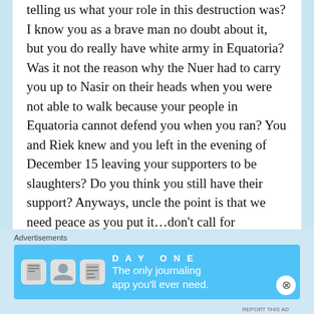telling us what your role in this destruction was? I know you as a brave man no doubt about it, but you do really have white army in Equatoria? Was it not the reason why the Nuer had to carry you up to Nasir on their heads when you were not able to walk because your people in Equatoria cannot defend you when you ran? You and Riek knew and you left in the evening of December 15 leaving your supporters to be slaughters? Do you think you still have their support? Anyways, uncle the point is that we need peace as you put it…don't call for Equatorians to rebel. They should have don
Advertisements
[Figure (screenshot): Day One journaling app advertisement banner with blue background, app icons on left and tagline 'The only journaling app you'll ever need.' on right]